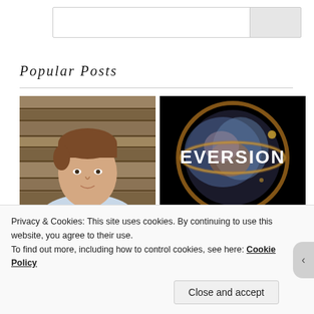Popular Posts
[Figure (photo): Photo of a man in a light blue/white checked shirt sitting in front of a wooden plank wall, smiling at the camera. Headshot/portrait style.]
[Figure (photo): Book cover for 'EVERSION' by ALASTAIR, featuring a large circular cosmic/nebula image on a black background with bold white text 'EVERSION' and 'ALASTAIR' at the bottom.]
[Figure (photo): Partial book cover showing orange/yellow text on dark background, partially cut off at bottom of page.]
[Figure (photo): Partial image with muted green/tan tones, partially cut off at bottom of page.]
Privacy & Cookies: This site uses cookies. By continuing to use this website, you agree to their use.
To find out more, including how to control cookies, see here: Cookie Policy